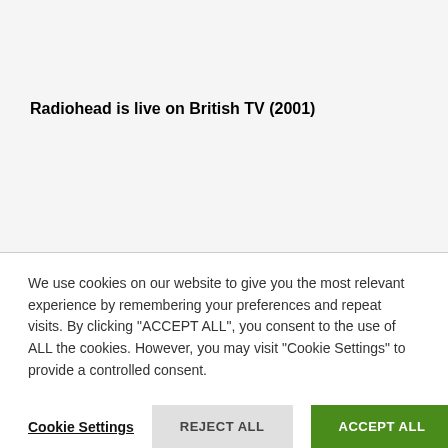Radiohead is live on British TV (2001)
We use cookies on our website to give you the most relevant experience by remembering your preferences and repeat visits. By clicking "ACCEPT ALL", you consent to the use of ALL the cookies. However, you may visit "Cookie Settings" to provide a controlled consent.
Cookie Settings | REJECT ALL | ACCEPT ALL